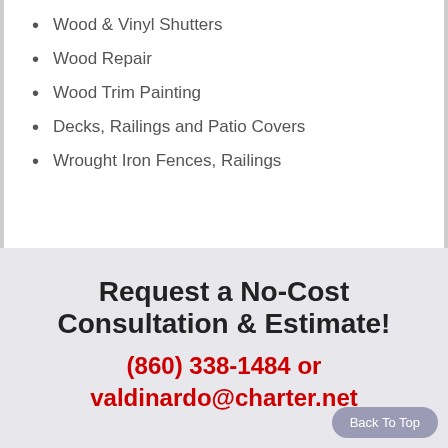Wood & Vinyl Shutters
Wood Repair
Wood Trim Painting
Decks, Railings and Patio Covers
Wrought Iron Fences, Railings
Request a No-Cost Consultation & Estimate!
(860) 338-1484 or valdinardo@charter.net